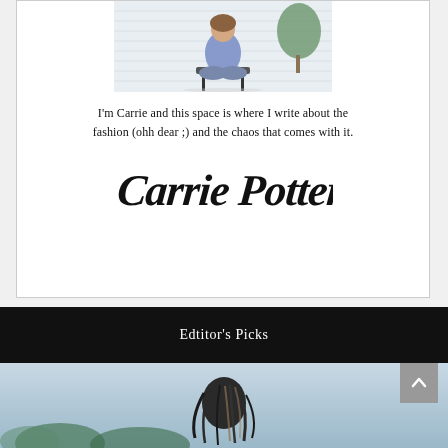[Figure (photo): Person sitting cross-legged on a chair with a plant in the background]
I'm Carrie and this space is where I write about the fashion (ohh dear ;) and the chaos that comes with it.
[Figure (illustration): Handwritten script signature reading 'Carrie Potter']
Edtitor's Picks
[Figure (photo): Person with long hair viewed from behind, outdoor setting]